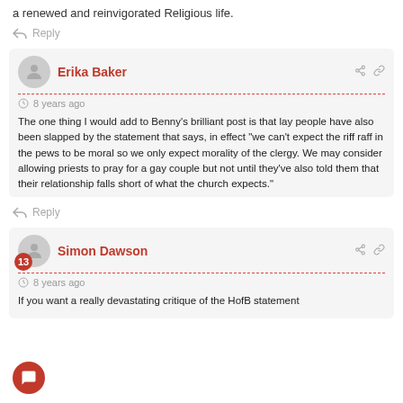a renewed and reinvigorated Religious life.
Reply
Erika Baker
8 years ago
The one thing I would add to Benny’s brilliant post is that lay people have also been slapped by the statement that says, in effect “we can’t expect the riff raff in the pews to be moral so we only expect morality of the clergy. We may consider allowing priests to pray for a gay couple but not until they’ve also told them that their relationship falls short of what the church expects.”
Reply
Simon Dawson
8 years ago
If you want a really devastating critique of the HofB statement